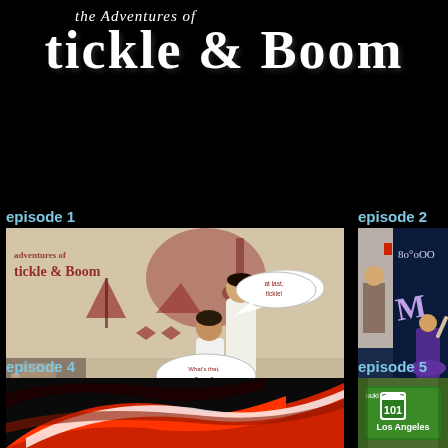the Adventures of Tickle & Boom
episode 1
[Figure (photo): Episode 1 thumbnail: Two people in white shirts posing in front of a stylized 'tickle & Boom' mural with comic book speech bubbles saying 'At last, tickle!' and 'What's that, Boom?']
episode 2
[Figure (photo): Episode 2 thumbnail: Person near a screen with glowing blue lights and circles, performers on stage]
episode 4
[Figure (photo): Episode 4 thumbnail: Close-up of red and white curved shapes]
episode 5
[Figure (photo): Episode 5 thumbnail: Highway 101 Los Angeles road sign on green background]